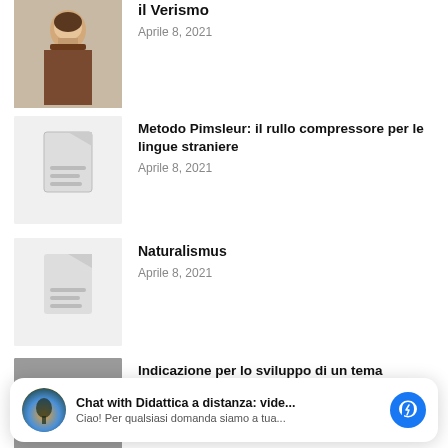[Figure (photo): Portrait painting of a man (partially visible at top)]
il Verismo
Aprile 8, 2021
[Figure (illustration): Document icon placeholder on light grey background]
Metodo Pimsleur: il rullo compressore per le lingue straniere
Aprile 8, 2021
[Figure (illustration): Document icon placeholder on light grey background]
Naturalismus
Aprile 8, 2021
[Figure (photo): Photo of a mug with colorful design on grey background]
Indicazione per lo sviluppo di un tema progettuale
Aprile 8, 2021
Chat with Didattica a distanza: vide...
Ciao! Per qualsiasi domanda siamo a tua...